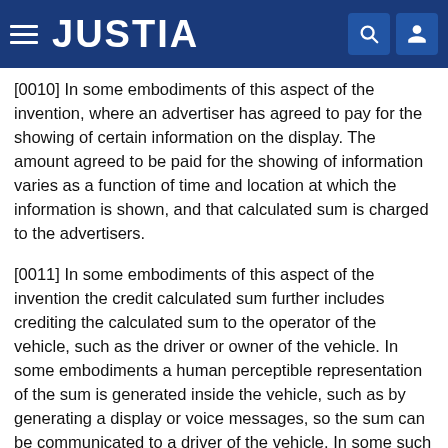JUSTIA
[0010] In some embodiments of this aspect of the invention, where an advertiser has agreed to pay for the showing of certain information on the display. The amount agreed to be paid for the showing of information varies as a function of time and location at which the information is shown, and that calculated sum is charged to the advertisers.
[0011] In some embodiments of this aspect of the invention the credit calculated sum further includes crediting the calculated sum to the operator of the vehicle, such as the driver or owner of the vehicle. In some embodiments a human perceptible representation of the sum is generated inside the vehicle, such as by generating a display or voice messages, so the sum can be communicated to a driver of the vehicle. In some such embodiments the calculated